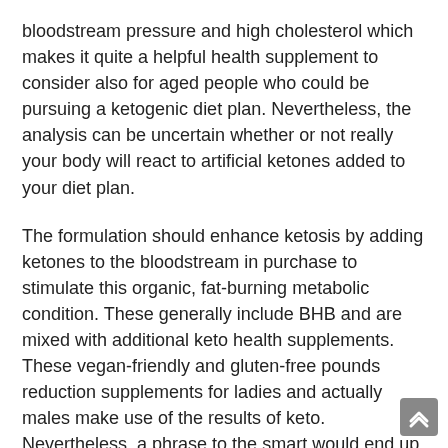bloodstream pressure and high cholesterol which makes it quite a helpful health supplement to consider also for aged people who could be pursuing a ketogenic diet plan. Nevertheless, the analysis can be uncertain whether or not really your body will react to artificial ketones added to your diet plan.
The formulation should enhance ketosis by adding ketones to the bloodstream in purchase to stimulate this organic, fat-burning metabolic condition. These generally include BHB and are mixed with additional keto health supplements. These vegan-friendly and gluten-free pounds reduction supplements for ladies and actually males make use of the results of keto. Nevertheless, a phrase to the smart would end up being one everyone with a uncovered least of common feeling should end up being capable to understand: not really all keto diet plan supplements are developed similarly. If a person with anorexia decides to begin on a ketogenic diet plan, it could be luring to try to perform therefore without consuming the correct quantity of unwanted fat. Weight reduction can be all about life-style and feeding on practices. I perform believe the NutriFlair